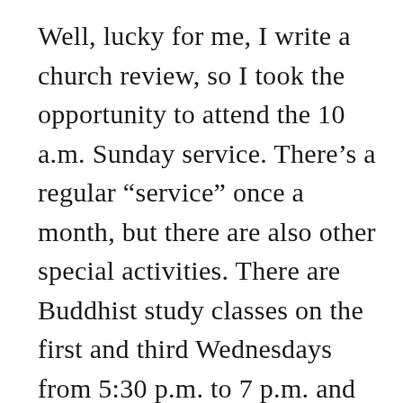Well, lucky for me, I write a church review, so I took the opportunity to attend the 10 a.m. Sunday service. There’s a regular “service” once a month, but there are also other special activities. There are Buddhist study classes on the first and third Wednesdays from 5:30 p.m. to 7 p.m. and meditations on the second and fourth Wednesdays from 6:30 p.m. to 8:30 p.m. In other words, it’s a deceptively busy place, so check the schedule at the Web site